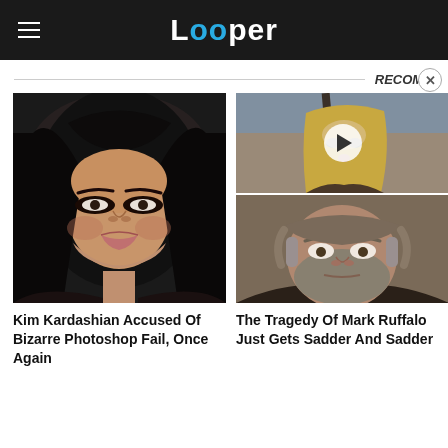Looper
RECOMM
[Figure (photo): Photo of a dark-haired woman (Kim Kardashian) with heavy eye makeup, close-up portrait against dark background]
[Figure (photo): Photo of a young blonde woman looking up, appears to be from a film or TV show, with a play button overlay]
[Figure (photo): Photo of a middle-aged man with salt-and-pepper beard and hair (Mark Ruffalo), close-up portrait]
Kim Kardashian Accused Of Bizarre Photoshop Fail, Once Again
The Tragedy Of Mark Ruffalo Just Gets Sadder And Sadder